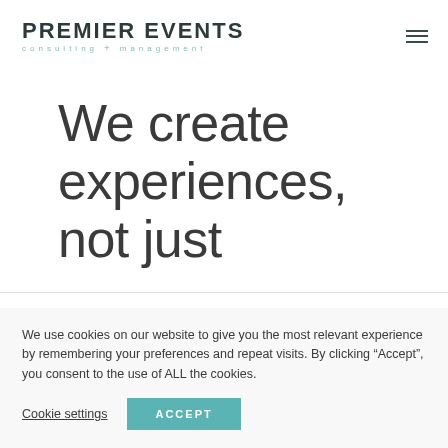PREMIER EVENTS consulting + management
We create experiences, not just
We use cookies on our website to give you the most relevant experience by remembering your preferences and repeat visits. By clicking “Accept”, you consent to the use of ALL the cookies.
Cookie settings | ACCEPT